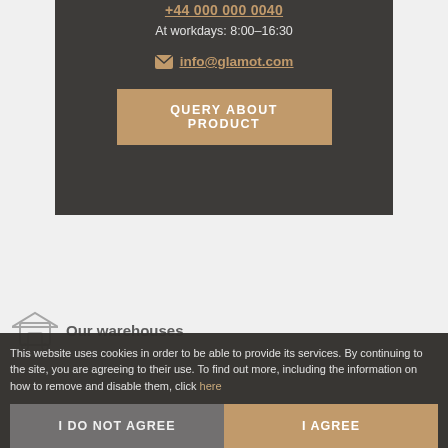+44 000 000 0040
At workdays: 8:00-16:30
info@glamot.com
QUERY ABOUT PRODUCT
Our warehouses
This website uses cookies in order to be able to provide its services. By continuing to the site, you are agreeing to their use. To find out more, including the information on how to remove and disable them, click here
I DO NOT AGREE
I AGREE